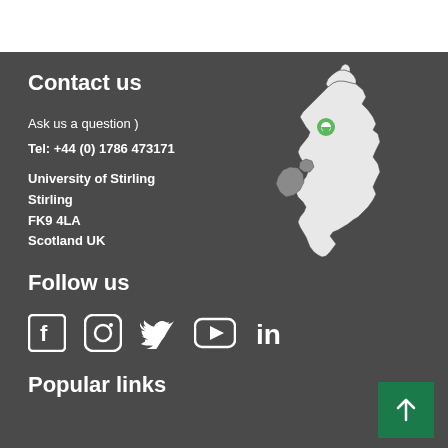Contact us
Ask us a question )
Tel: +44 (0) 1786 473171
University of Stirling
Stirling
FK9 4LA
Scotland UK
[Figure (map): Map of the UK and Ireland with a green location pin marker placed over Scotland, near Stirling.]
Follow us
[Figure (infographic): Social media icons: Facebook, Instagram, Twitter, YouTube, LinkedIn]
Popular links